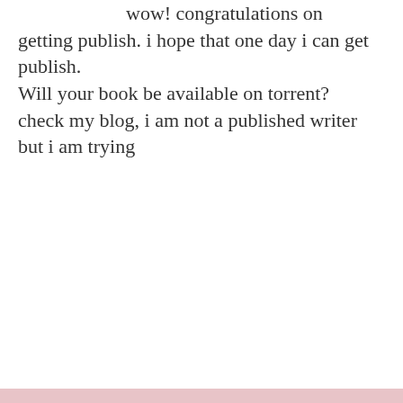wow! congratulations on getting publish. i hope that one day i can get publish.
Will your book be available on torrent?
check my blog, i am not a published writer but i am trying
★ Like
REPLY
Privacy & Cookies: This site uses cookies. By continuing to use this website, you agree to their use.
To find out more, including how to control cookies, see here: Cookie Policy
Close and accept